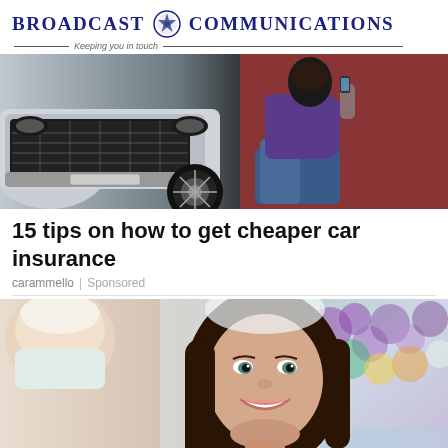Broadcast Communications — Keeping you in touch
[Figure (photo): Photo of a car close-up (front grille and wheel area) with a woman sitting on the ground leaning against the car, wearing blue jeans and a purple top]
15 tips on how to get cheaper car insurance
carammello | Sponsored
[Figure (photo): Photo of a smiling woman at a dental appointment holding a tooth color shade guide, with a dental professional in the foreground and colorful flowers in the background]